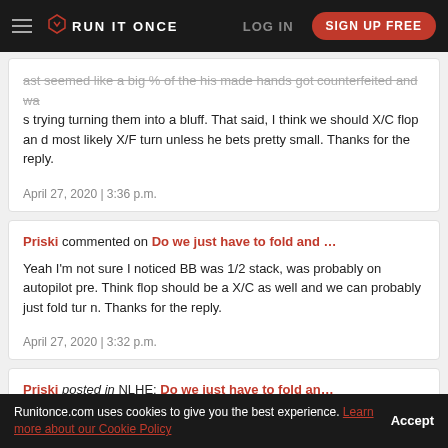RUN IT ONCE | LOG IN | SIGN UP FREE
ast seemed like a big % of the his made hands got counterfeited and was trying turning them into a bluff. That said, I think we should X/C flop and most likely X/F turn unless he bets pretty small. Thanks for the reply.

April 27, 2020 | 3:36 p.m.
Priski commented on Do we just have to fold and ...
Yeah I'm not sure I noticed BB was 1/2 stack, was probably on autopilot pre. Think flop should be a X/C as well and we can probably just fold turn. Thanks for the reply.

April 27, 2020 | 3:32 p.m.
Priski posted in NLHE: Do we just have to fold an...
Ignition - $2 NL FAST (6 max) - Holdem - 6 players
Runitonce.com uses cookies to give you the best experience. Learn more about our Cookie Policy   Accept